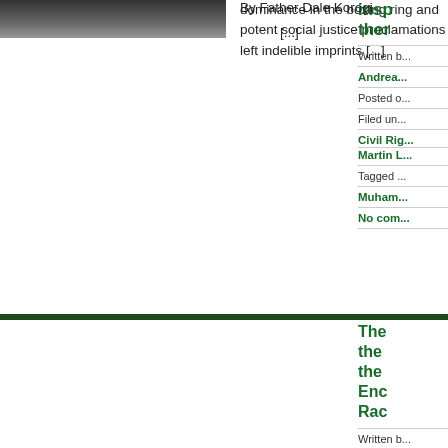[Figure (photo): Black and white photograph (partially visible at top)]
dominance in the boxing ring and potent social justice proclamations left indelible imprints [...]
insp... ther...
Written b...
Andrea...
Posted o...
Filed un...
Civil Rig...
Martin L...
Tagged ...
Muham...
No com...
[Figure (photo): Dark photograph (partially visible)]
By Father Dale Korogi
[...]
The... the... the... Enc... Rac...
Written b...
Andrea...